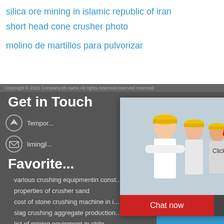silica ore mining in islamic republic of iran
short head cone crusher photo
molino de martillos para pulvorizar
Copyright © 2021 Company.ph name. All rights reserved.reserved reserved
Get in Touch
Tempor... hour online
limingjl...
Favorite...
various crushing equipmentin const...
properties of crusher sand
cost of stone crushing machine in i... crusher
slag crushing aggregate production...
list of mining equipment in chile
portable crusher for sale nigeria
[Figure (screenshot): Live chat popup overlay with workers wearing hard hats, red LIVE CHAT text, 'Click for a Free Consultation', Chat now and Chat later buttons]
[Figure (screenshot): Sidebar with blue background showing hour online label, crusher machine image, Click me to chat>> button, Enquiry label, and limingjlmofen text]